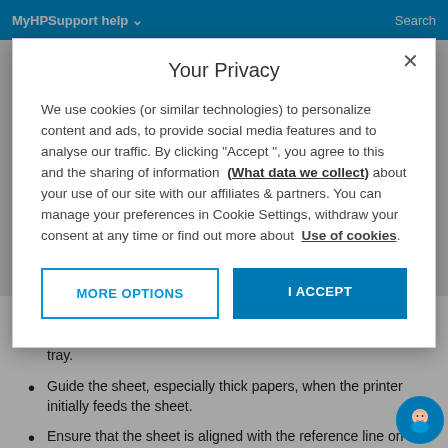MyHPSupport help    Search
Your Privacy
We use cookies (or similar technologies) to personalize content and ads, to provide social media features and to analyse our traffic. By clicking "Accept ", you agree to this and the sharing of information (What data we collect) about your use of our site with our affiliates & partners. You can manage your preferences in Cookie Settings, withdraw your consent at any time or find out more about Use of cookies.
check that the sheet is more than 329 mm 12.93 in wide (A3+). If it is that width or less, load it from the multi-sheet tray.
Guide the sheet, especially thick papers, when the printer initially feeds the sheet.
Ensure that the sheet is aligned with the reference line on the roll cover.